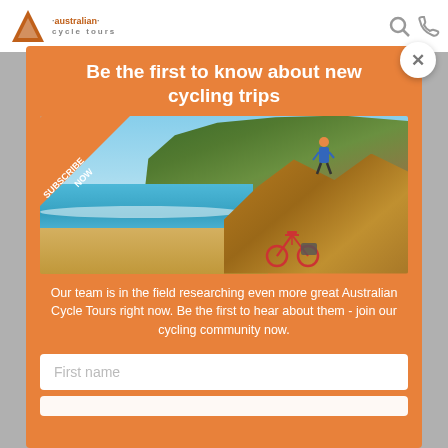australian cycle tours
Be the first to know about new cycling trips
[Figure (photo): Photo of a cyclist sitting on coastal rocks beside a red bicycle, with turquoise water, sandy beach, and a green cliff in the background. A diagonal orange banner in the top-left corner reads 'SUBSCRIBE NOW'.]
Our team is in the field researching even more great Australian Cycle Tours right now. Be the first to hear about them - join our cycling community now.
First name